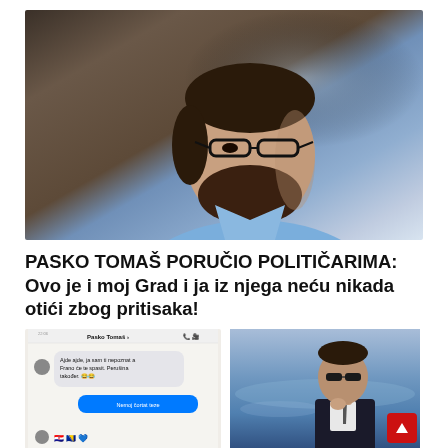[Figure (photo): Close-up photo of a bearded man with glasses looking downward, wearing a light blue shirt, against a blurred background]
PASKO TOMAŠ PORUČIO POLITIČARIMA: Ovo je i moj Grad i ja iz njega neću nikada otići zbog pritisaka!
[Figure (screenshot): Screenshot of a mobile chat conversation showing a message from Pasko Tomaš with text 'Ajde ajde, ja sam ti nepoznat a Frano će te spasit. Perušina također.' with emoji, and a reply 'Nemoj čortat teze']
[Figure (photo): Photo of a man in a dark suit and sunglasses, sitting by the sea with water visible in background]